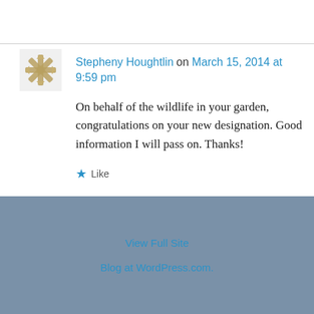Stepheny Houghtlin on March 15, 2014 at 9:59 pm
On behalf of the wildlife in your garden, congratulations on your new designation. Good information I will pass on. Thanks!
Like
Reply
View Full Site
Blog at WordPress.com.